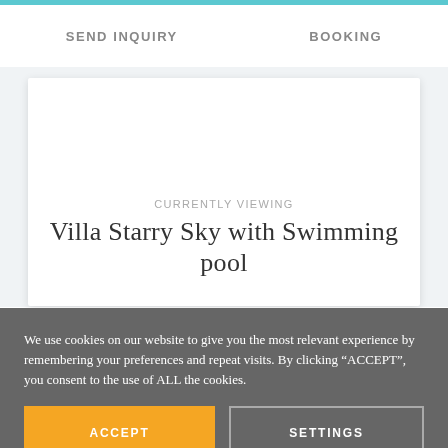SEND INQUIRY | BOOKING
CURRENTLY VIEWING
Villa Starry Sky with Swimming pool
We use cookies on our website to give you the most relevant experience by remembering your preferences and repeat visits. By clicking “ACCEPT”, you consent to the use of ALL the cookies.
ACCEPT
SETTINGS